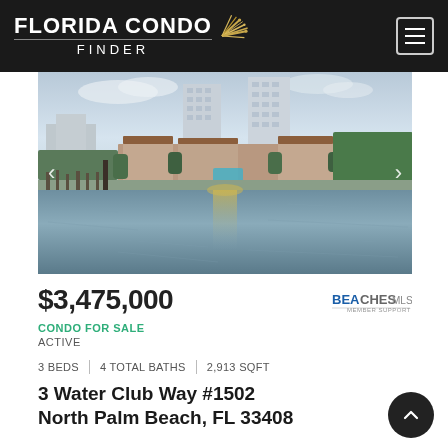FLORIDA CONDO FINDER
[Figure (photo): Aerial waterfront view of luxury condo towers in North Palm Beach, FL, with marina, pool area, and Intracoastal Waterway in foreground]
$3,475,000
CONDO FOR SALE
ACTIVE
3 BEDS | 4 TOTAL BATHS | 2,913 SQFT
3 Water Club Way #1502
North Palm Beach, FL 33408